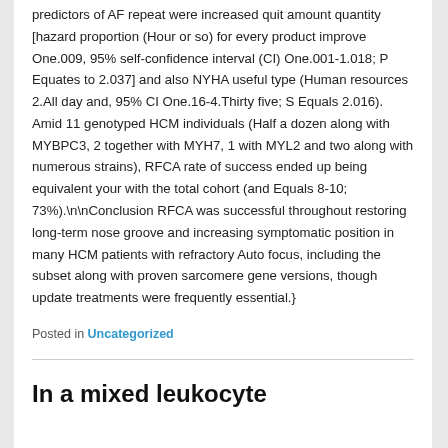predictors of AF repeat were increased quit amount quantity [hazard proportion (Hour or so) for every product improve One.009, 95% self-confidence interval (CI) One.001-1.018; P Equates to 2.037] and also NYHA useful type (Human resources 2.All day and, 95% CI One.16-4.Thirty five; S Equals 2.016). Amid 11 genotyped HCM individuals (Half a dozen along with MYBPC3, 2 together with MYH7, 1 with MYL2 and two along with numerous strains), RFCA rate of success ended up being equivalent your with the total cohort (and Equals 8-10; 73%).\n\nConclusion RFCA was successful throughout restoring long-term nose groove and increasing symptomatic position in many HCM patients with refractory Auto focus, including the subset along with proven sarcomere gene versions, though update treatments were frequently essential.}
Posted in Uncategorized
In a mixed leukocyte